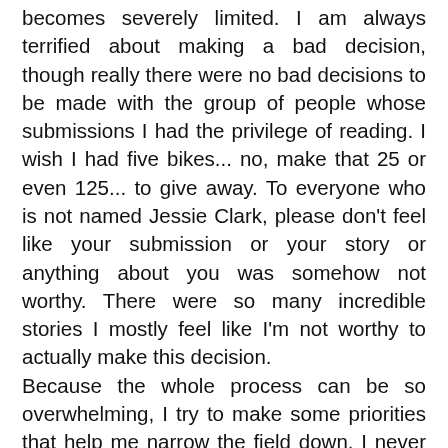becomes severely limited. I am always terrified about making a bad decision, though really there were no bad decisions to be made with the group of people whose submissions I had the privilege of reading. I wish I had five bikes... no, make that 25 or even 125... to give away. To everyone who is not named Jessie Clark, please don't feel like your submission or your story or anything about you was somehow not worthy. There were so many incredible stories I mostly feel like I'm not worthy to actually make this decision.
Because the whole process can be so overwhelming, I try to make some priorities that help me narrow the field down. I never want to post these in advance for a couple reasons. The first is that I never want anyone to feel like they don't have a chance. One of the five finalists was someone who didn't really meet any of the items on my mental checklist, but his story was so good I couldn't not include him. No one's